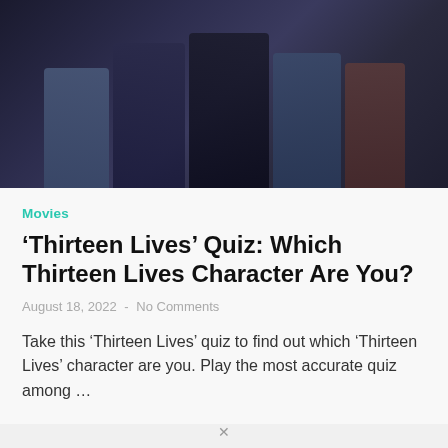[Figure (photo): Movie still showing several people in dark tactical/diving gear walking together in a dimly lit setting]
Movies
‘Thirteen Lives’ Quiz: Which Thirteen Lives Character Are You?
August 18, 2022  -  No Comments
Take this ‘Thirteen Lives’ quiz to find out which ‘Thirteen Lives’ character are you. Play the most accurate quiz among …